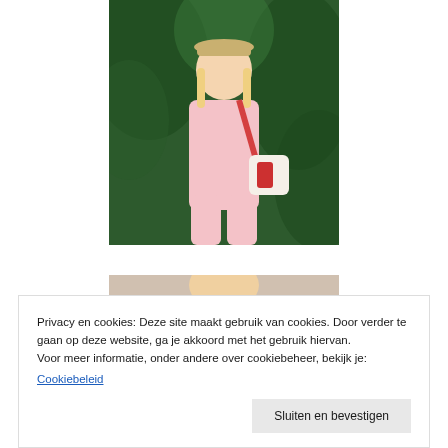[Figure (photo): Woman wearing a pink tracksuit and cap, carrying a red and white bag, standing outdoors with tropical green foliage in the background.]
[Figure (photo): Partially visible second photo showing a person, mostly obscured by the cookie consent banner.]
Privacy en cookies: Deze site maakt gebruik van cookies. Door verder te gaan op deze website, ga je akkoord met het gebruik hiervan.
Voor meer informatie, onder andere over cookiebeheer, bekijk je:
Cookiebeleid
Sluiten en bevestigen